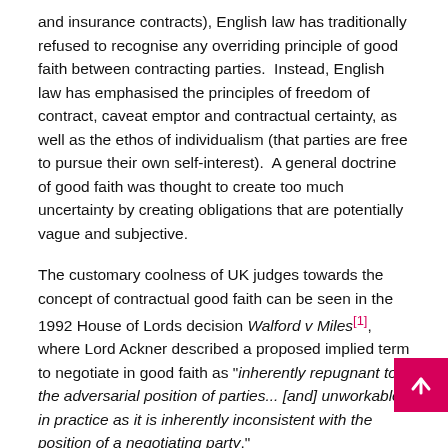and insurance contracts), English law has traditionally refused to recognise any overriding principle of good faith between contracting parties.  Instead, English law has emphasised the principles of freedom of contract, caveat emptor and contractual certainty, as well as the ethos of individualism (that parties are free to pursue their own self-interest).  A general doctrine of good faith was thought to create too much uncertainty by creating obligations that are potentially vague and subjective.
The customary coolness of UK judges towards the concept of contractual good faith can be seen in the 1992 House of Lords decision Walford v Miles[1], where Lord Ackner described a proposed implied term to negotiate in good faith as "inherently repugnant to the adversarial position of parties... [and] unworkable in practice as it is inherently inconsistent with the position of a negotiating party."
However, the application of the principle of good faith is